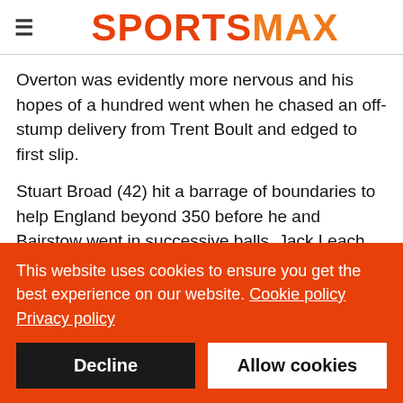SPORTSMAX
Overton was evidently more nervous and his hopes of a hundred went when he chased an off-stump delivery from Trent Boult and edged to first slip.
Stuart Broad (42) hit a barrage of boundaries to help England beyond 350 before he and Bairstow went in successive balls, Jack Leach the last man to depart after a pair of fours.
Despite Will Young's early exit to Matthew Potts (2-20), New
This website uses cookies to ensure you get the best experience on our website. Cookie policy Privacy policy
Decline
Allow cookies